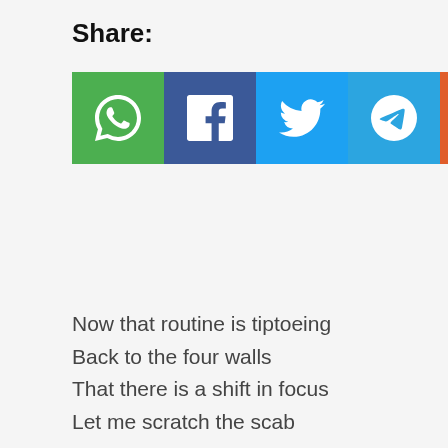Share:
[Figure (infographic): Row of six social share buttons: WhatsApp (green), Facebook (dark blue), Twitter (light blue), Telegram (sky blue), Reddit (orange), Email (dark grey), each with white icon.]
Now that routine is tiptoeing
Back to the four walls
That there is a shift in focus
Let me scratch the scab